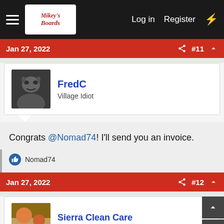Mikey's Board — Log in  Register
Jan 27, 2022  #11
FredC — Village Idiot
Congrats @Nomad74! I'll send you an invoice.
Nomad74 (liked)
Jan 27, 2022  #12
Sierra Clean Care — Member